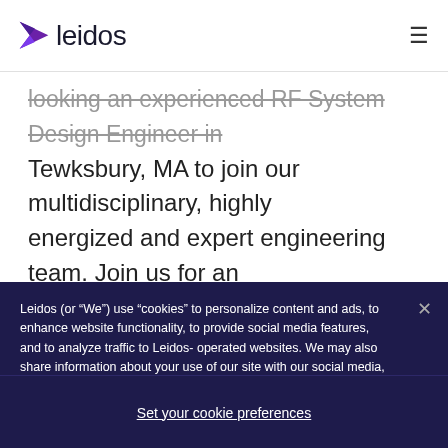[Figure (logo): Leidos logo — purple arrow/triangle icon followed by the word 'leidos' in dark text]
looking an experienced RF System Design Engineer in Tewksbury, MA to join our multidisciplinary, highly energized and expert engineering team. Join us for an exciting opportunity to get in on the ground floor of an innovative new project, work with cutting edge technology on developing state-of-the-art products, and
Leidos (or “We”) use “cookies” to personalize content and ads, to enhance website functionality, to provide social media features, and to analyze traffic to Leidos-operated websites. We may also share information about your use of our site with our social media, advertising, and analytics partners. To learn more, please review our Privacy Statement.
Set your cookie preferences